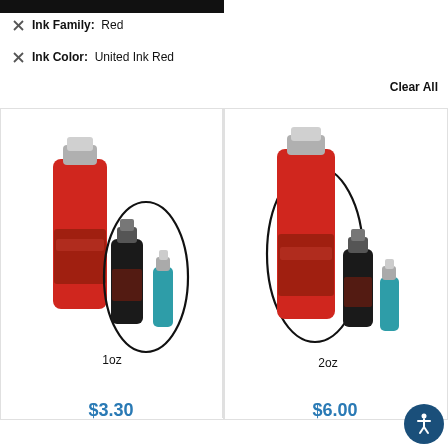Ink Family: Red
Ink Color: United Ink Red
Clear All
[Figure (photo): Tattoo ink bottle set showing 1oz highlighted with oval circle, red large bottle with smaller black and teal bottles beside it]
1oz
$3.30
[Figure (photo): Tattoo ink bottle set showing 2oz highlighted with oval circle, red large bottle with smaller black and teal bottles beside it]
2oz
$6.00